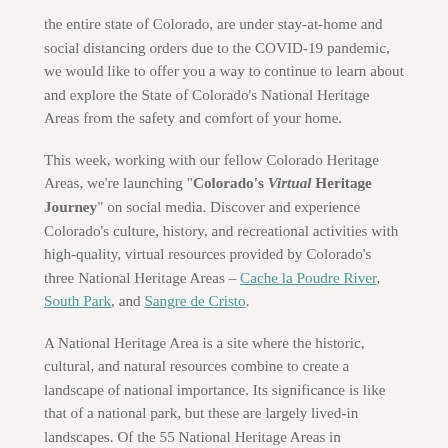the entire state of Colorado, are under stay-at-home and social distancing orders due to the COVID-19 pandemic, we would like to offer you a way to continue to learn about and explore the State of Colorado's National Heritage Areas from the safety and comfort of your home.
This week, working with our fellow Colorado Heritage Areas, we're launching "Colorado's Virtual Heritage Journey" on social media. Discover and experience Colorado's culture, history, and recreational activities with high-quality, virtual resources provided by Colorado's three National Heritage Areas – Cache la Poudre River, South Park, and Sangre de Cristo.
A National Heritage Area is a site where the historic, cultural, and natural resources combine to create a landscape of national importance. Its significance is like that of a national park, but these are largely lived-in landscapes. Of the 55 National Heritage Areas in